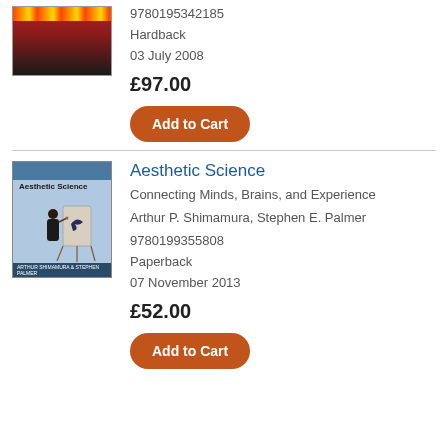[Figure (photo): Book cover with red and dark gradient, multicolored bar at top]
9780195342185
Hardback
03 July 2008
£97.00
Add to Cart
Aesthetic Science
Connecting Minds, Brains, and Experience
Arthur P. Shimamura, Stephen E. Palmer
[Figure (photo): Book cover for Aesthetic Science showing a person painting a bird at an easel]
9780199355808
Paperback
07 November 2013
£52.00
Add to Cart